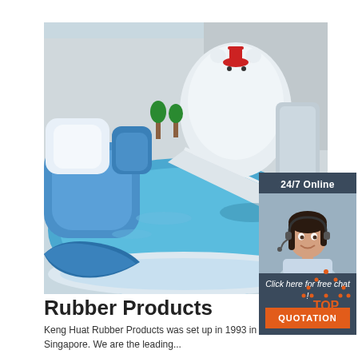[Figure (photo): Water park inflatable play area with large polar bear slide, inflatable obstacles in blue and white, and a large round blue swimming pool in the foreground]
[Figure (infographic): 24/7 Online chat widget showing a female customer service representative with headset, dark background, 'Click here for free chat!' text, and an orange QUOTATION button]
[Figure (infographic): Orange TOP button with dotted triangle/arrow icon pointing upward]
Rubber Products
Keng Huat Rubber Products was set up in 1993 in Singapore. We are the leading...